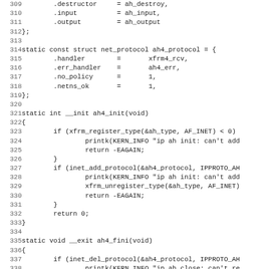Source code listing, lines 309-341, C language kernel networking code (ah4 protocol initialization and finalization functions)